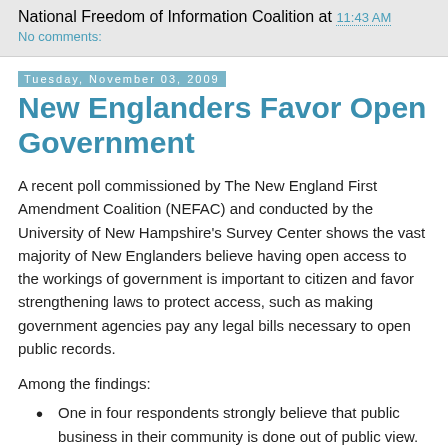National Freedom of Information Coalition at 11:43 AM
No comments:
Tuesday, November 03, 2009
New Englanders Favor Open Government
A recent poll commissioned by The New England First Amendment Coalition (NEFAC) and conducted by the University of New Hampshire's Survey Center shows the vast majority of New Englanders believe having open access to the workings of government is important to citizen and favor strengthening laws to protect access, such as making government agencies pay any legal bills necessary to open public records.
Among the findings:
One in four respondents strongly believe that public business in their community is done out of public view.